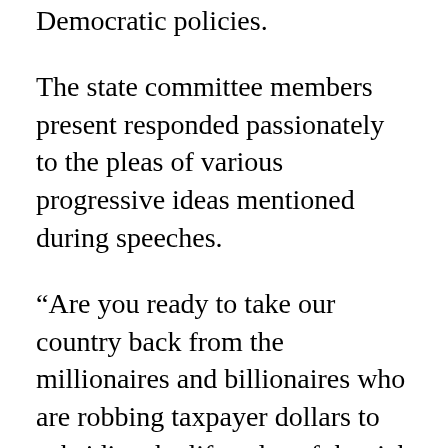Democratic policies.
The state committee members present responded passionately to the pleas of various progressive ideas mentioned during speeches.
“Are you ready to take our country back from the millionaires and billionaires who are robbing taxpayer dollars to subsidize the lifestyles of the rich and famous,” Jeffries asked the crowd. “We’re going to fight for a real infrastructure plan that invests $1 trillion and creates 16 million good-paying jobs.”
The multiple references of defending unions resulted in some of the loudest responses in the evening and was particularly emphasized